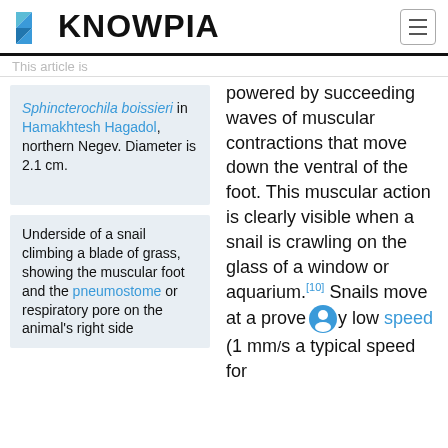KNOWPIA
Sphincterochila boissieri in Hamakhtesh Hagadol, northern Negev. Diameter is 2.1 cm.
Underside of a snail climbing a blade of grass, showing the muscular foot and the pneumostome or respiratory pore on the animal's right side
powered by succeeding waves of muscular contractions that move down the ventral of the foot. This muscular action is clearly visible when a snail is crawling on the glass of a window or aquarium.[10] Snails move at a proverbially low speed (1 mm/s is a typical speed for